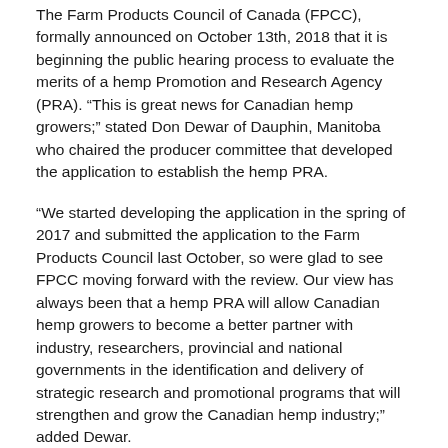The Farm Products Council of Canada (FPCC), formally announced on October 13th, 2018 that it is beginning the public hearing process to evaluate the merits of a hemp Promotion and Research Agency (PRA). “This is great news for Canadian hemp growers;” stated Don Dewar of Dauphin, Manitoba who chaired the producer committee that developed the application to establish the hemp PRA.
“We started developing the application in the spring of 2017 and submitted the application to the Farm Products Council last October, so were glad to see FPCC moving forward with the review. Our view has always been that a hemp PRA will allow Canadian hemp growers to become a better partner with industry, researchers, provincial and national governments in the identification and delivery of strategic research and promotional programs that will strengthen and grow the Canadian hemp industry;” added Dewar.
Unlike provincial commissions or boards which fall under provincial legislation, a PRA falls under the Federal Farm Products Agency Act and it’s the Farm Products Council role to evaluate the merits of an application to be presented to the cabinet and Governor General for approval.